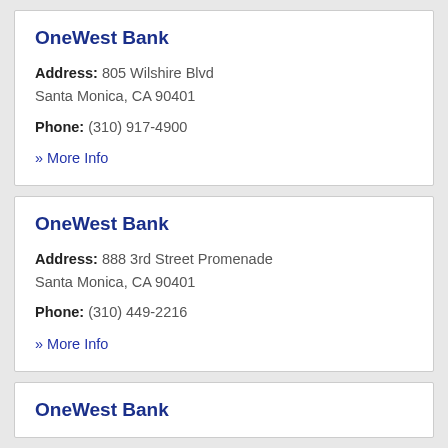OneWest Bank
Address: 805 Wilshire Blvd
Santa Monica, CA 90401
Phone: (310) 917-4900
» More Info
OneWest Bank
Address: 888 3rd Street Promenade
Santa Monica, CA 90401
Phone: (310) 449-2216
» More Info
OneWest Bank